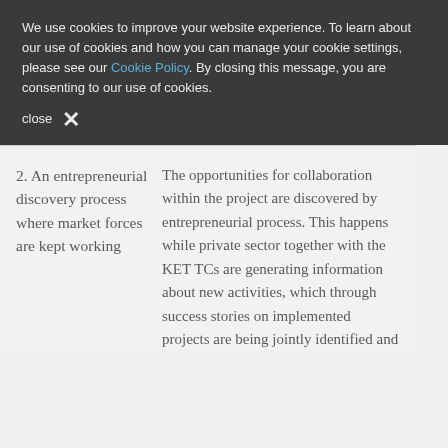We use cookies to improve your website experience. To learn about our use of cookies and how you can manage your cookie settings, please see our Cookie Policy. By closing this message, you are consenting to our use of cookies.
close ✕
2. An entrepreneurial discovery process where market forces are kept working
The opportunities for collaboration within the project are discovered by entrepreneurial process. This happens while private sector together with the KET TCs are generating information about new activities, which through success stories on implemented projects are being jointly identified and explored. Through an external evaluation committee for the micro grants and monitoring of an overall project implementation opportunities are being assessed empowering those actors who are more capable of realising this potential. Discovery part in the project and